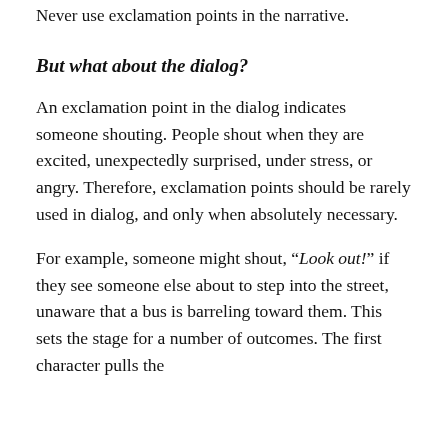Never use exclamation points in the narrative.
But what about the dialog?
An exclamation point in the dialog indicates someone shouting. People shout when they are excited, unexpectedly surprised, under stress, or angry. Therefore, exclamation points should be rarely used in dialog, and only when absolutely necessary.
For example, someone might shout, “Look out!” if they see someone else about to step into the street, unaware that a bus is barreling toward them. This sets the stage for a number of outcomes. The first character pulls the